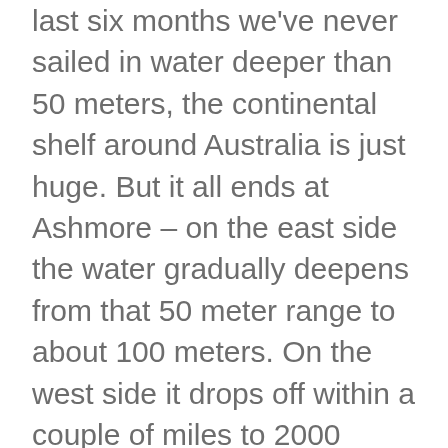last six months we've never sailed in water deeper than 50 meters, the continental shelf around Australia is just huge. But it all ends at Ashmore – on the east side the water gradually deepens from that 50 meter range to about 100 meters. On the west side it drops off within a couple of miles to 2000 meters.
Since the weather was nice we decided to stop for a day. Australia maintains a 24/7 presence at the reef, seems the World Court says that if they're not there then the Indonesians can make a claim. And there's apparently a fair amount of oil in the surrounding Timor Sea. So, when we arrived there was a small Australian warship on station. We took a mooring near West Island (the Australian government has installed moorings to prevent damage to coral) and got in a nap. In the afternoon we did some snorkeling while